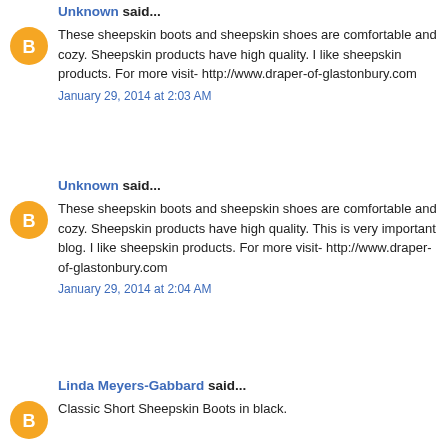Unknown said...
These sheepskin boots and sheepskin shoes are comfortable and cozy. Sheepskin products have high quality. I like sheepskin products. For more visit- http://www.draper-of-glastonbury.com
January 29, 2014 at 2:03 AM
Unknown said...
These sheepskin boots and sheepskin shoes are comfortable and cozy. Sheepskin products have high quality. This is very important blog. I like sheepskin products. For more visit- http://www.draper-of-glastonbury.com
January 29, 2014 at 2:04 AM
Linda Meyers-Gabbard said...
Classic Short Sheepskin Boots in black.